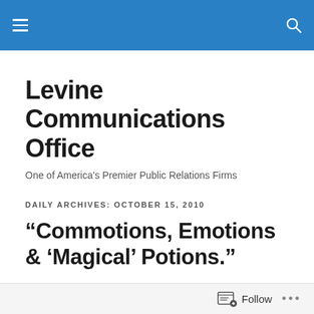Levine Communications Office — site header bar
Levine Communications Office
One of America's Premier Public Relations Firms
DAILY ARCHIVES: OCTOBER 15, 2010
“Commotions, Emotions & ‘Magical’ Potions.”
Did you know that over 6,000 women enter menopause every day in the US alone and by 2015, the number of